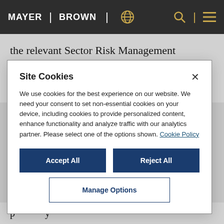MAYER | BROWN
the relevant Sector Risk Management Agencies and “other appropriate Federal agencies” within 24 hours of receipt, subject to further direction
Site Cookies
We use cookies for the best experience on our website. We need your consent to set non-essential cookies on your device, including cookies to provide personalized content, enhance functionality and analyze traffic with our analytics partner. Please select one of the options shown. Cookie Policy
Accept All
Reject All
Manage Options
p y